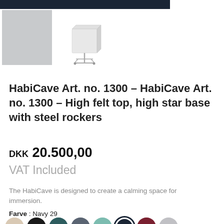[Figure (photo): Product image of HabiCave chair: a grey placeholder square on the left and a rendered product image of a white cubic felt chair with star base on the right]
HabiCave Art. no. 1300 – HabiCave Art. no. 1300 – High felt top, high star base with steel rockers
DKK 20.500,00
VAT Included
The HabiCave is designed to create a calming space for immersion.
Farve : Navy 29
[Figure (illustration): Color swatches row: beige, black, dark teal, slate grey, mint/teal, navy (selected), burgundy, silver]